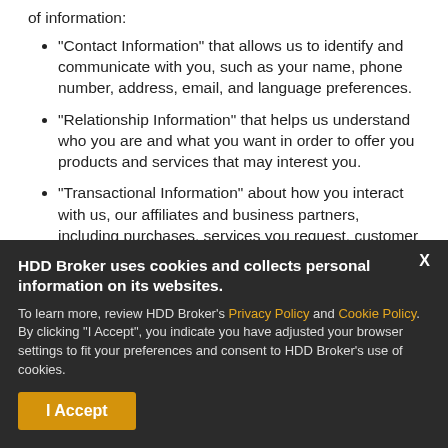of information:
"Contact Information" that allows us to identify and communicate with you, such as your name, phone number, address, email, and language preferences.
"Relationship Information" that helps us understand who you are and what you want in order to offer you products and services that may interest you.
"Transactional Information" about how you interact with us, our affiliates and business partners, including purchases, services you request, customer service inquiries, and customer account information.
HDD Broker uses cookies and collects personal information on its websites. To learn more, review HDD Broker's Privacy Policy and Cookie Policy. By clicking "I Accept", you indicate you have adjusted your browser settings to fit your preferences and consent to HDD Broker's use of cookies.